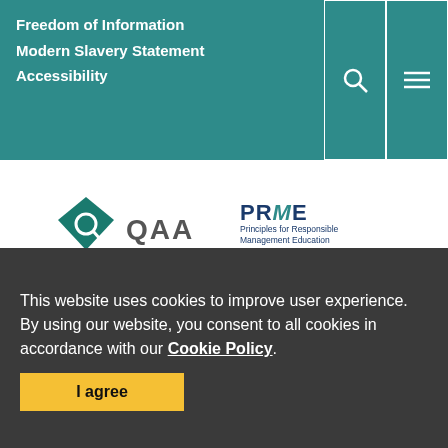Freedom of Information
Modern Slavery Statement
Accessibility
[Figure (logo): QAA logo with diamond Q icon and text 'QAA' and 'UK Quality Assured' in teal]
[Figure (logo): PRME Champions 2018-2019 logo - Principles for Responsible Management Education]
[Figure (logo): Armed Forces Covenant badge: Proudly Supporting Those Who...]
[Figure (logo): BGF UK Excellence Award badge on dark purple background]
This website uses cookies to improve user experience. By using our website, you consent to all cookies in accordance with our Cookie Policy.
I agree